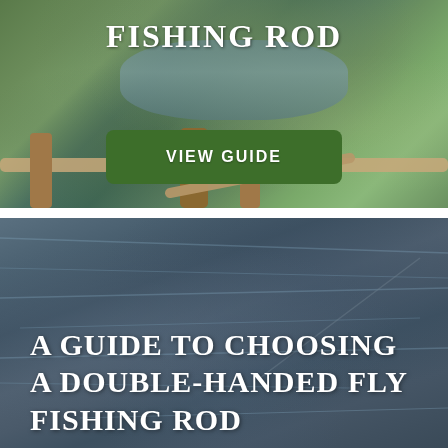[Figure (photo): Outdoor fly fishing scene with river, green grassy marsh banks, and a wooden fence rail in the foreground. White bold text reads 'FISHING ROD' at the top, with a green 'VIEW GUIDE' button below.]
[Figure (photo): Rippling blue-grey river water surface. White bold text overlay reads 'A GUIDE TO CHOOSING A DOUBLE-HANDED FLY FISHING ROD'.]